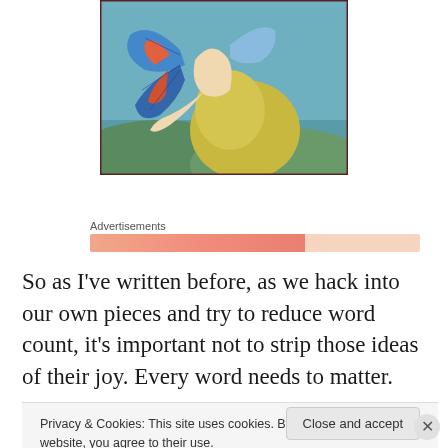[Figure (illustration): Art nouveau / vintage illustration showing a woman with butterfly wings and a flowing golden-green dress, reclining against a blue background with hills.]
Advertisements
So as I've written before, as we hack into our own pieces and try to reduce word count, it's important not to strip those ideas of their joy. Every word needs to matter.
Privacy & Cookies: This site uses cookies. By continuing to use this website, you agree to their use.
To find out more, including how to control cookies, see here: Cookie Policy
Close and accept